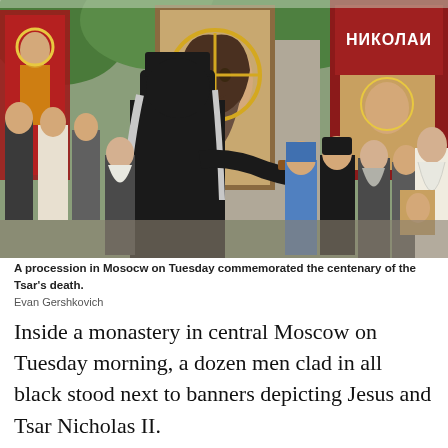[Figure (photo): A religious procession in Moscow on Tuesday. A group of people stand in front of large Orthodox Christian banners and icons depicting Jesus and saints. In the foreground, a priest or monk in black robes and hat holds a wooden cross. Behind him, clergy, laypeople, and biker-style individuals stand in a courtyard. A large icon of Jesus's face is prominently displayed in the background, along with a banner reading НИКОЛАИ (Nicholas). The scene takes place outdoors among trees.]
A procession in Mosocw on Tuesday commemorated the centenary of the Tsar's death.
Evan Gershkovich
Inside a monastery in central Moscow on Tuesday morning, a dozen men clad in all black stood next to banners depicting Jesus and Tsar Nicholas II.